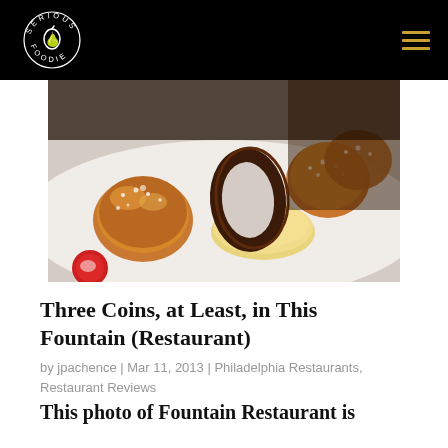SERIOUS FOODIE (logo)
[Figure (photo): Close-up photo of dessert items including powdered sugar-dusted doughnuts, a chocolate oval ring decoration, and a round custard/panna cotta on a white plate]
Three Coins, at Least, in This Fountain (Restaurant)
by jpachence | Mar 11, 2013 | Philadelphia Restaurants, Restaurant Reviews
This photo of Fountain Restaurant is